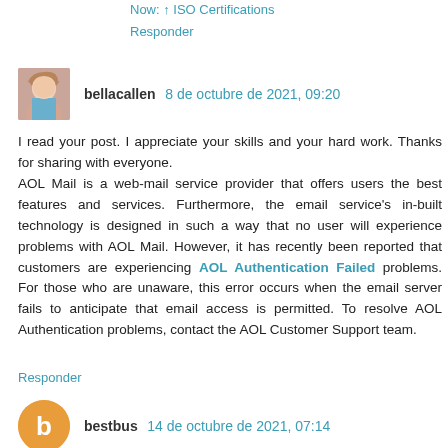Now: ↑ ISO Certifications
Responder
bellacallen 8 de octubre de 2021, 09:20
I read your post. I appreciate your skills and your hard work. Thanks for sharing with everyone.
AOL Mail is a web-mail service provider that offers users the best features and services. Furthermore, the email service's in-built technology is designed in such a way that no user will experience problems with AOL Mail. However, it has recently been reported that customers are experiencing AOL Authentication Failed problems. For those who are unaware, this error occurs when the email server fails to anticipate that email access is permitted. To resolve AOL Authentication problems, contact the AOL Customer Support team.
Responder
bestbus 14 de octubre de 2021, 07:14